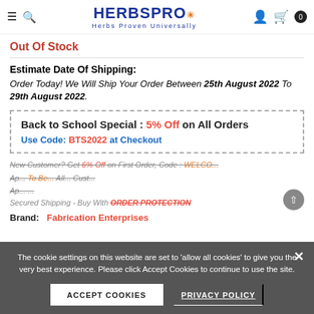[Figure (logo): HerbsPro logo with sun icon and tagline 'Herbs Proven Universally']
Out Of Stock
Estimate Date Of Shipping:
Order Today! We Will Ship Your Order Between 25th August 2022 To 29th August 2022.
Back to School Special : 5% Off on All Orders
Use Code: BTS2022 at Checkout
New Customer? Get 6% Off on First Order, Code : WELCO...
Secured Shipping - Buy With ORDER PROTECTION
Brand: Fabrication Enterprises
The cookie settings on this website are set to 'allow all cookies' to give you the very best experience. Please click Accept Cookies to continue to use the site.